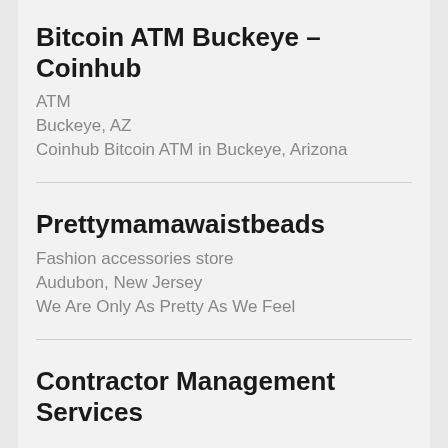Bitcoin ATM Buckeye – Coinhub
ATM
Buckeye, AZ
Coinhub Bitcoin ATM in Buckeye, Arizona
Prettymamawaistbeads
Fashion accessories store
Audubon, New Jersey
We Are Only As Pretty As We Feel
Contractor Management Services